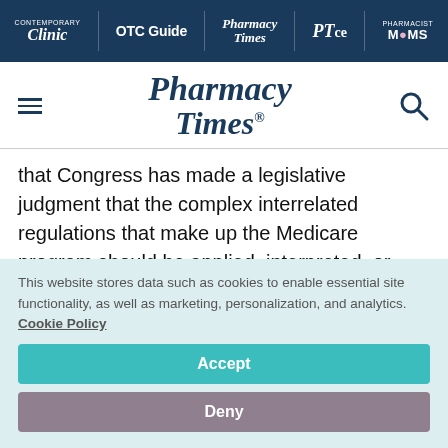Clinic | OTC Guide | Pharmacy Times | PTce | Pharmacist Moms
[Figure (logo): Pharmacy Times logo with hamburger menu and search icon]
that Congress has made a legislative judgment that the complex interrelated regulations that make up the Medicare program should be applied, interpreted, or revised by the agency with specialized knowledge in the first instance.
This website stores data such as cookies to enable essential site functionality, as well as marketing, personalization, and analytics. Cookie Policy
Accept
Deny